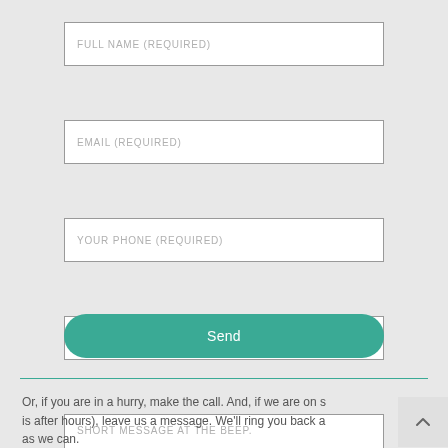FULL NAME (required)
EMAIL (required)
YOUR PHONE (required)
WHAT'S IT ABOUT
SHORT MESSAGE AT THE BEEP.
Send
Or, if you are in a hurry, make the call. And, if we are on s is after hours), leave us a message. We'll ring you back a as we can.